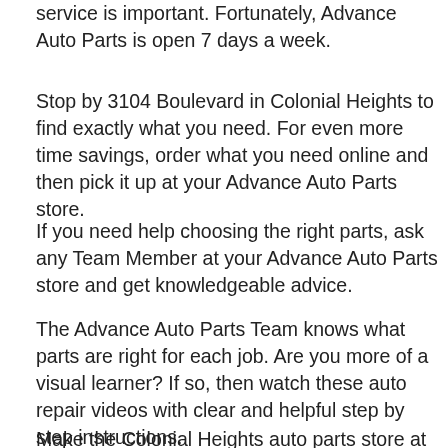service is important. Fortunately, Advance Auto Parts is open 7 days a week.
Stop by 3104 Boulevard in Colonial Heights to find exactly what you need. For even more time savings, order what you need online and then pick it up at your Advance Auto Parts store.
If you need help choosing the right parts, ask any Team Member at your Advance Auto Parts store and get knowledgeable advice.
The Advance Auto Parts Team knows what parts are right for each job. Are you more of a visual learner? If so, then watch these auto repair videos with clear and helpful step by step instructions.
Make the Colonial Heights auto parts store at 3104 Boulevard in Colonial Heights your store today. Call